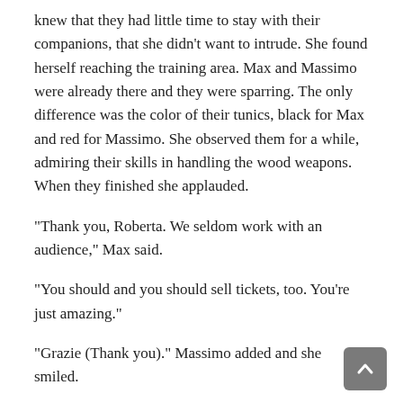knew that they had little time to stay with their companions, that she didn't want to intrude. She found herself reaching the training area. Max and Massimo were already there and they were sparring. The only difference was the color of their tunics, black for Max and red for Massimo. She observed them for a while, admiring their skills in handling the wood weapons. When they finished she applauded.
“Thank you, Roberta. We seldom work with an audience,” Max said.
“You should and you should sell tickets, too. You’re just amazing.”
“Grazie (Thank you).” Massimo added and she smiled.
“Would you mind, showing me some of your moves? I know I’m not trained for this, but I’ve always wanted to try and use a sword. I suppose I’ve seen too many action